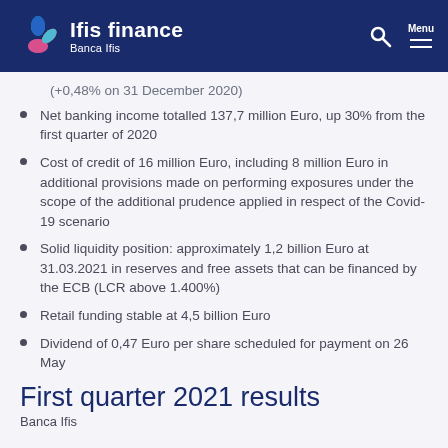Ifis finance / Banca Ifis
(+0,48% on 31 December 2020)
Net banking income totalled 137,7 million Euro, up 30% from the first quarter of 2020
Cost of credit of 16 million Euro, including 8 million Euro in additional provisions made on performing exposures under the scope of the additional prudence applied in respect of the Covid-19 scenario
Solid liquidity position: approximately 1,2 billion Euro at 31.03.2021 in reserves and free assets that can be financed by the ECB (LCR above 1.400%)
Retail funding stable at 4,5 billion Euro
Dividend of 0,47 Euro per share scheduled for payment on 26 May
First quarter 2021 results
Banca Ifis (partial, cut off)